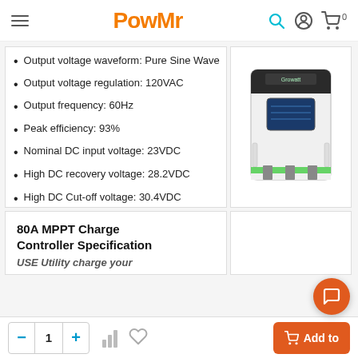PowMr — navigation header with logo, search, account, and cart icons
Output voltage waveform: Pure Sine Wave
Output voltage regulation: 120VAC
Output frequency: 60Hz
Peak efficiency: 93%
Nominal DC input voltage: 23VDC
High DC recovery voltage: 28.2VDC
High DC Cut-off voltage: 30.4VDC
[Figure (photo): White wall-mounted solar inverter device with black display panel and green accent stripe]
80A MPPT Charge Controller Specification
USE Utility charge your...